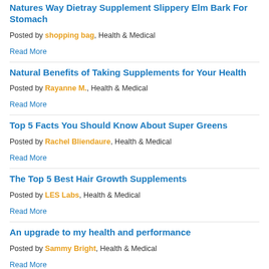Natures Way Dietray Supplement Slippery Elm Bark For Stomach
Posted by shopping bag, Health & Medical
Read More
Natural Benefits of Taking Supplements for Your Health
Posted by Rayanne M., Health & Medical
Read More
Top 5 Facts You Should Know About Super Greens
Posted by Rachel Bliendaure, Health & Medical
Read More
The Top 5 Best Hair Growth Supplements
Posted by LES Labs, Health & Medical
Read More
An upgrade to my health and performance
Posted by Sammy Bright, Health & Medical
Read More